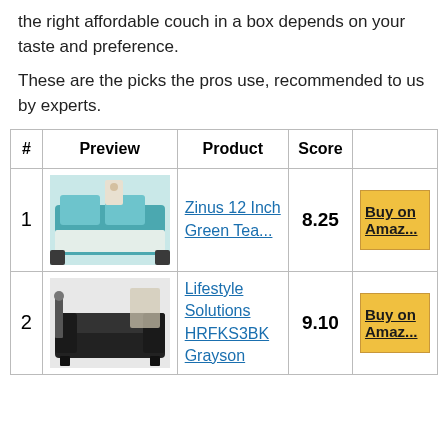the right affordable couch in a box depends on your taste and preference.
These are the picks the pros use, recommended to us by experts.
| # | Preview | Product | Score |  |
| --- | --- | --- | --- | --- |
| 1 | [image] | Zinus 12 Inch Green Tea... | 8.25 | Buy on Amazon |
| 2 | [image] | Lifestyle Solutions HRFKS3BK Grayson | 9.10 | Buy on Amazon |